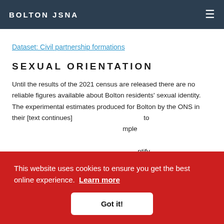BOLTON JSNA
Dataset: Civil partnership formations
SEXUAL ORIENTATION
Until the results of the 2021 census are released there are no reliable figures available about Bolton residents' sexual identity. The experimental estimates produced for Bolton by the ONS in their [text continues] to [text continues] mple [text continues] ntify [text continues] le are more likely to identify as LGB than older a...
This website uses cookies to ensure you get the best online experience. Learn more
Got it!